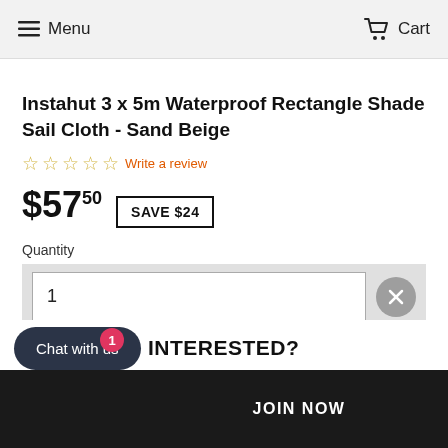Menu   Cart
Instahut 3 x 5m Waterproof Rectangle Shade Sail Cloth - Sand Beige
☆☆☆☆☆ Write a review
$57.50  SAVE $24
Quantity
1
INTERESTED?
Chat with us   JOIN NOW